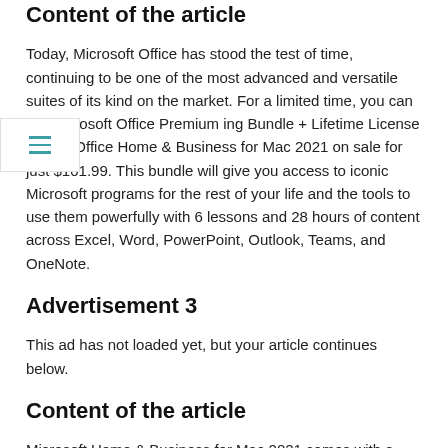Content of the article
Today, Microsoft Office has stood the test of time, continuing to be one of the most advanced and versatile suites of its kind on the market. For a limited time, you can get Microsoft Office Premium ing Bundle + Lifetime License for MS Office Home & Business for Mac 2021 on sale for just $101.99. This bundle will give you access to iconic Microsoft programs for the rest of your life and the tools to use them powerfully with 6 lessons and 28 hours of content across Excel, Word, PowerPoint, Outlook, Teams, and OneNote.
Advertisement 3
This ad has not loaded yet, but your article continues below.
Content of the article
Microsoft Home & Business for Mac 2021 comes with a lifetime license for the above programs as a one-time purchase installed on a single mac for use at home or at work. With purchase, you'll get